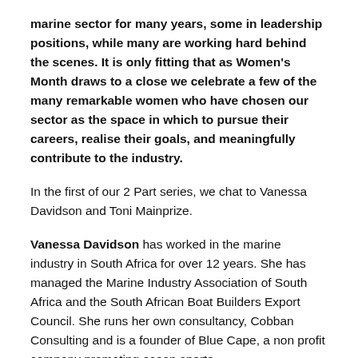marine sector for many years, some in leadership positions, while many are working hard behind the scenes. It is only fitting that as Women's Month draws to a close we celebrate a few of the many remarkable women who have chosen our sector as the space in which to pursue their careers, realise their goals, and meaningfully contribute to the industry.
In the first of our 2 Part series, we chat to Vanessa Davidson and Toni Mainprize.
Vanessa Davidson has worked in the marine industry in South Africa for over 12 years. She has managed the Marine Industry Association of South Africa and the South African Boat Builders Export Council. She runs her own consultancy, Cobban Consulting and is a founder of Blue Cape, a non profit company promoting ocean sports,